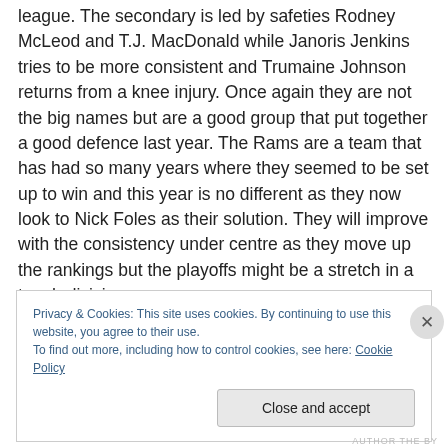league. The secondary is led by safeties Rodney McLeod and T.J. MacDonald while Janoris Jenkins tries to be more consistent and Trumaine Johnson returns from a knee injury. Once again they are not the big names but are a good group that put together a good defence last year. The Rams are a team that has had so many years where they seemed to be set up to win and this year is no different as they now look to Nick Foles as their solution. They will improve with the consistency under centre as they move up the rankings but the playoffs might be a stretch in a tough division.
Privacy & Cookies: This site uses cookies. By continuing to use this website, you agree to their use.
To find out more, including how to control cookies, see here: Cookie Policy